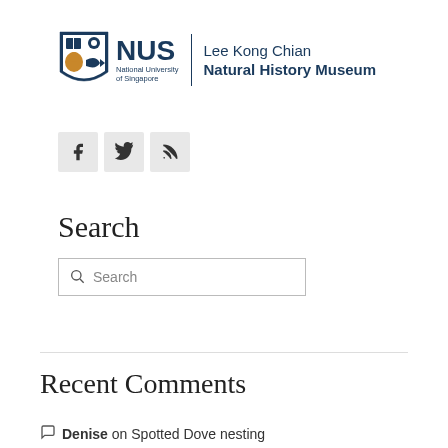[Figure (logo): NUS Lee Kong Chian Natural History Museum logo with shield emblem, NUS text, National University of Singapore subtitle, vertical divider, and museum name]
[Figure (infographic): Three social media icon buttons: Facebook (f), Twitter (bird), RSS feed]
Search
[Figure (screenshot): Search input box with magnifying glass icon and placeholder text 'Search']
Recent Comments
Denise on Spotted Dove nesting